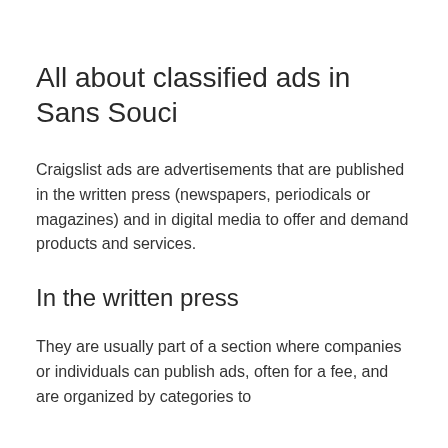All about classified ads in Sans Souci
Craigslist ads are advertisements that are published in the written press (newspapers, periodicals or magazines) and in digital media to offer and demand products and services.
In the written press
They are usually part of a section where companies or individuals can publish ads, often for a fee, and are organized by categories to